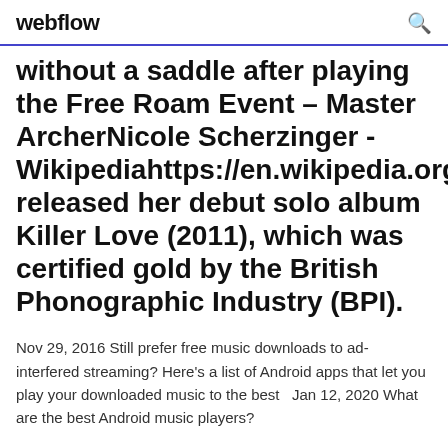webflow
without a saddle after playing the Free Roam Event – Master ArcherNicole Scherzinger - Wikipediahttps://en.wikipedia.org/wiki/scherzingerShe released her debut solo album Killer Love (2011), which was certified gold by the British Phonographic Industry (BPI).
Nov 29, 2016 Still prefer free music downloads to ad-interfered streaming? Here's a list of Android apps that let you play your downloaded music to the best  Jan 12, 2020 What are the best Android music players?